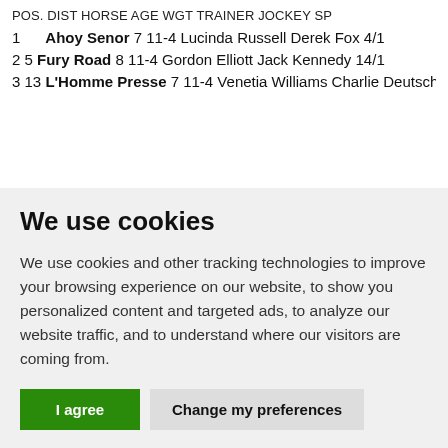| POS. | DIST | HORSE | AGE | WGT | TRAINER | JOCKEY | SP |
| --- | --- | --- | --- | --- | --- | --- | --- |
| 1 |  | Ahoy Senor | 7 | 11-4 | Lucinda Russell | Derek Fox | 4/1 |
| 2 | 5 | Fury Road | 8 | 11-4 | Gordon Elliott | Jack Kennedy | 14/1 |
| 3 | 13 | L'Homme Presse | 7 | 11-4 | Venetia Williams | Charlie Deutsch |  |
We use cookies
We use cookies and other tracking technologies to improve your browsing experience on our website, to show you personalized content and targeted ads, to analyze our website traffic, and to understand where our visitors are coming from.
I agree | Change my preferences